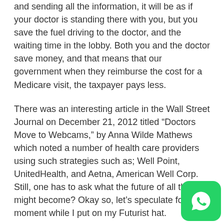and sending all the information, it will be as if your doctor is standing there with you, but you save the fuel driving to the doctor, and the waiting time in the lobby. Both you and the doctor save money, and that means that our government when they reimburse the cost for a Medicare visit, the taxpayer pays less.
There was an interesting article in the Wall Street Journal on December 21, 2012 titled “Doctors Move to Webcams,” by Anna Wilde Mathews which noted a number of health care providers using such strategies such as; Well Point, UnitedHealth, and Aetna, American Well Corp. Still, one has to ask what the future of all this might become? Okay so, let’s speculate for a moment while I put on my Futurist hat.
Precision MD
In Kurzweil’s “Accelerating Intelligence” online news there a piece titled; “The future of medicine is now” published December 31, 2012 and reprinted from also the WSJ which